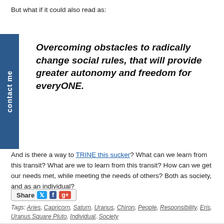But what if it could also read as:
Overcoming obstacles to radically change social rules, that will provide greater autonomy and freedom for everyONE.
And is there a way to TRINE this sucker? What can we learn from this transit? What are we to learn from this transit? How can we get our needs met, while meeting the needs of others? Both as society, and as an individual?
[Figure (other): Share bar with Twitter, Facebook, and Google Plus icons]
Tags: Aries, Capricorn, Saturn, Uranus, Chiron, People, Responsibility, Eris, Uranus Square Pluto, Individual, Society